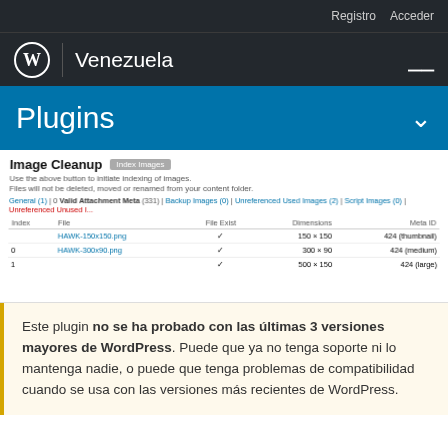Registro  Acceder
Venezuela
Plugins
[Figure (screenshot): Screenshot of Image Cleanup plugin admin page showing a table with indexed image files (HAWK-150x150.png, HAWK-300x90.png), columns for File, File Exist, Dimensions, and Meta ID]
Este plugin no se ha probado con las últimas 3 versiones mayores de WordPress. Puede que ya no tenga soporte ni lo mantenga nadie, o puede que tenga problemas de compatibilidad cuando se usa con las versiones más recientes de WordPress.